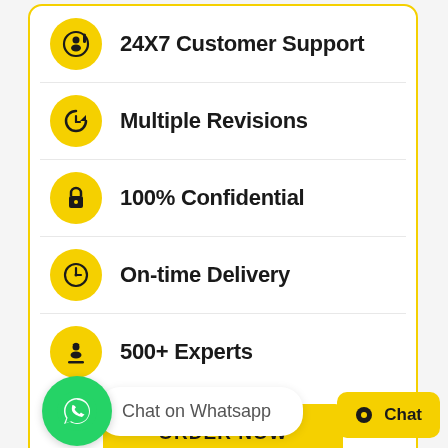24X7 Customer Support
Multiple Revisions
100% Confidential
On-time Delivery
500+ Experts
ORDER NOW
Chat on Whatsapp
Chat